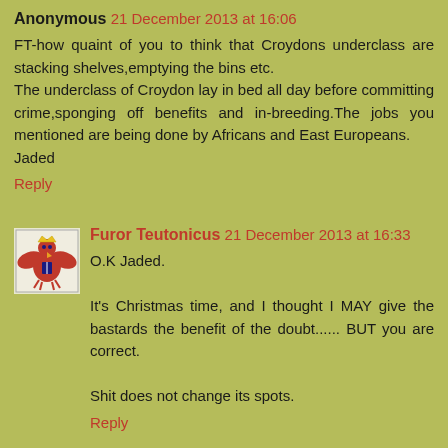Anonymous 21 December 2013 at 16:06
FT-how quaint of you to think that Croydons underclass are stacking shelves,emptying the bins etc.
The underclass of Croydon lay in bed all day before committing crime,sponging off benefits and in-breeding.The jobs you mentioned are being done by Africans and East Europeans.
Jaded
Reply
Furor Teutonicus 21 December 2013 at 16:33
O.K Jaded.

It's Christmas time, and I thought I MAY give the bastards the benefit of the doubt...... BUT you are correct.

Shit does not change its spots.
Reply